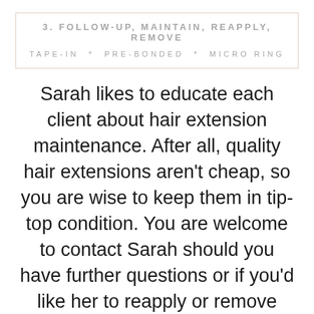3. FOLLOW-UP, MAINTAIN, REAPPLY, REMOVE
TAPE-IN * PRE-BONDED * MICRO RING
Sarah likes to educate each client about hair extension maintenance. After all, quality hair extensions aren't cheap, so you are wise to keep them in tip-top condition. You are welcome to contact Sarah should you have further questions or if you'd like her to reapply or remove your hair extensions in the future. For the best hair extensions in Wimbledon, tape hair extensions in South West London or mobile hair